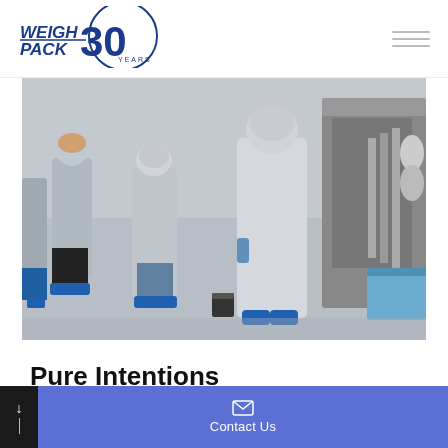[Figure (logo): WeighPack 30 Years logo in blue]
[Figure (photo): Cleanroom workers in white lab coats and blue protective footwear operating packaging machinery in a sterile facility]
Pure Intentions
316 Pure...